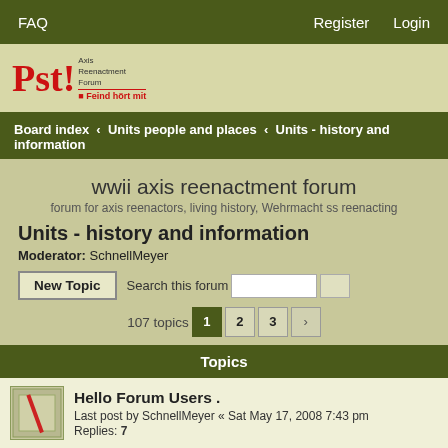FAQ    Register    Login
[Figure (logo): Pst! Axis Reenactment Forum logo with red text and tagline 'Feind hört mit']
Board index ‹ Units people and places ‹ Units - history and information
wwii axis reenactment forum
forum for axis reenactors, living history, Wehrmacht ss reenacting
Units - history and information
Moderator: SchnellMeyer
New Topic    Search this forum    107 topics   1  2  3
| Topics |
| --- |
| Hello Forum Users . | Last post by SchnellMeyer « Sat May 17, 2008 7:43 pm | Replies: 7 |
| 3./Flak Ers.Abt. 26 | Last post by Darrell3559 « Sat Jun 13, 2015 1:47 pm | Replies: 2 |